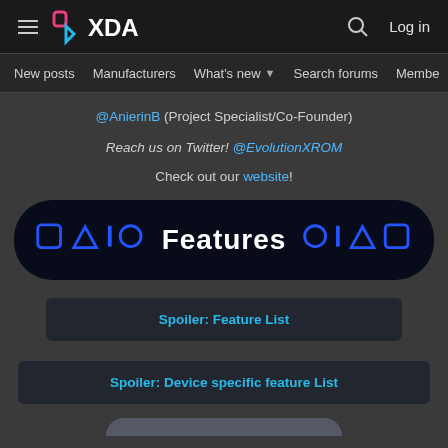XDA Developers — New posts | Manufacturers | What's new | Search forums | Members
@AnierinB (Project Specialist/Co-Founder)
Reach us on Twitter! @EvolutionXROM
Check out our website!
[Figure (other): Features banner with PlayStation-style icons (square, triangle, line, circle) on both sides, centered bold white text 'Features', dark navy rounded rectangle background]
Spoiler: Feature List
Spoiler: Device specific feature List